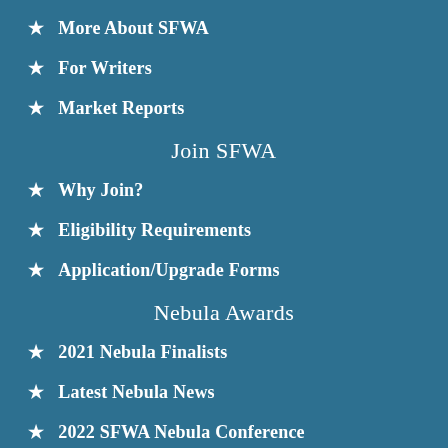More About SFWA
For Writers
Market Reports
Join SFWA
Why Join?
Eligibility Requirements
Application/Upgrade Forms
Nebula Awards
2021 Nebula Finalists
Latest Nebula News
2022 SFWA Nebula Conference
Follow SFWA Online